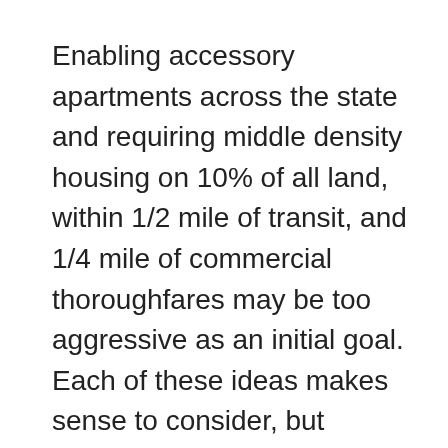Enabling accessory apartments across the state and requiring middle density housing on 10% of all land, within 1/2 mile of transit, and 1/4 mile of commercial thoroughfares may be too aggressive as an initial goal. Each of these ideas makes sense to consider, but perhaps these provisions ought to be piloted in stages and evaluated prior to becoming permanent. Potentially, a first stage might allow an accessory apartment on properties near transit; followed by a second stage of accessory apartments on 10% of town land and one detached and